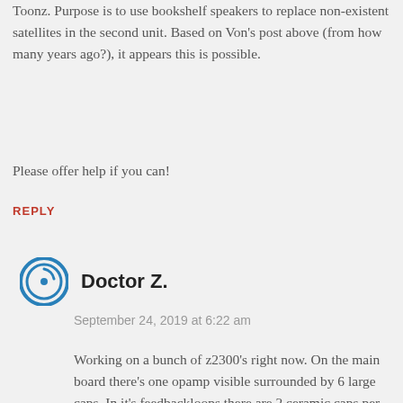Toonz. Purpose is to use bookshelf speakers to replace non-existent satellites in the second unit. Based on Von's post above (from how many years ago?), it appears this is possible.
Please offer help if you can!
REPLY
Doctor Z.
September 24, 2019 at 6:22 am
Working on a bunch of z2300's right now. On the main board there's one opamp visible surrounded by 6 large caps. In it's feedbackloops there are 2 ceramic caps per side plus some resistors. That, i suspect, is the crossover for the high side of the sound. It's stereo and I would figure a smart designer would do the bass end of it after the mono conversion. This would mean that if you wanted to alter the highfrequency cutoff you could tinker with those parts but if you wanted to modify